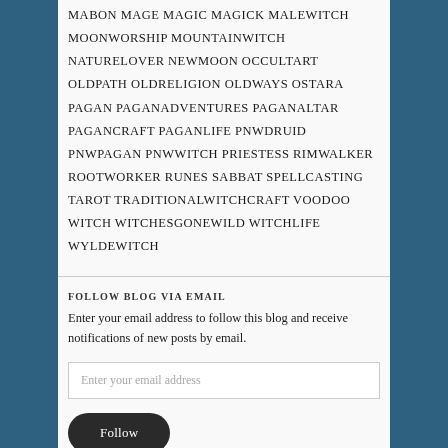MABON MAGE MAGIC MAGICK MALEWITCH MOONWORSHIP MOUNTAINWITCH NATURELOVER NEWMOON OCCULTART OLDPATH OLDRELIGION OLDWAYS OSTARA PAGAN PAGANADVENTURES PAGANALTAR PAGANCRAFT PAGANLIFE PNWDRUID PNWPAGAN PNWWITCH PRIESTESS RIMWALKER ROOTWORKER RUNES SABBAT SPELLCASTING TAROT TRADITIONALWITCHCRAFT VOODOO WITCH WITCHESGONEWILD WITCHLIFE WYLDEWITCH
FOLLOW BLOG VIA EMAIL
Enter your email address to follow this blog and receive notifications of new posts by email.
Enter your email address
Follow